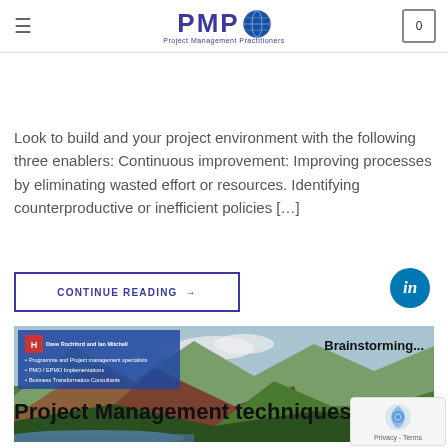PMP Project Management Practitioners
How to Build a SUCCESSFUL TEAM...
Look to build and your project environment with the following three enablers: Continuous improvement: Improving processes by eliminating wasted effort or resources. Identifying counterproductive or inefficient policies [...]
CONTINUE READING →
[Figure (photo): Mountain landscape with lake in foreground, overlaid with PMP branding panel showing Dave Rochford and Ian Mitchell, Programme and Project management specialists, PMO / EPMO Implementations, Business Transformation Consultants. Text 'Brainstorming...' and date badge '25 Feb'.]
Project Management techniques: